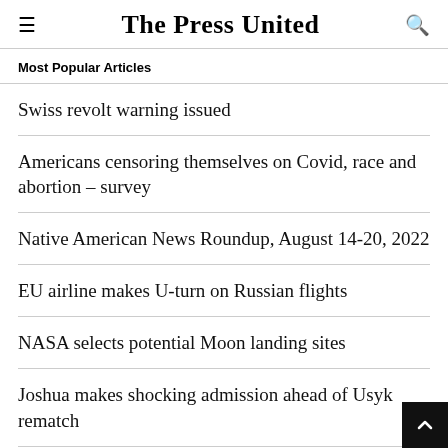The Press United
Most Popular Articles
Swiss revolt warning issued
Americans censoring themselves on Covid, race and abortion – survey
Native American News Roundup, August 14-20, 2022
EU airline makes U-turn on Russian flights
NASA selects potential Moon landing sites
Joshua makes shocking admission ahead of Usyk rematch
Russian soldiers in Ukraine hospitalized with seve chemical poisoning – Moscow